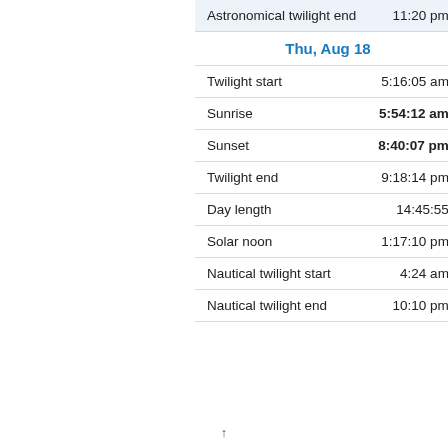| Event | Time |
| --- | --- |
| Astronomical twilight end | 11:20 pm |
| Thu, Aug 18 |  |
| Twilight start | 5:16:05 am |
| Sunrise | 5:54:12 am |
| Sunset | 8:40:07 pm |
| Twilight end | 9:18:14 pm |
| Day length | 14:45:55 |
| Solar noon | 1:17:10 pm |
| Nautical twilight start | 4:24 am |
| Nautical twilight end | 10:10 pm |